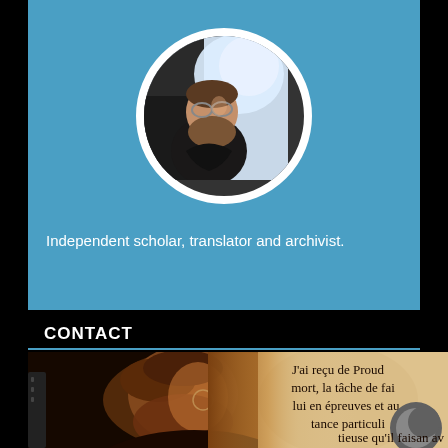[Figure (photo): Circular profile photo of a bearded man with glasses on a blue banner background]
Independent scholar, translator and archivist.
CONTACT
[Figure (photo): Profile of a bearded man with glasses overlaid with an aged document showing French text: J'ai reçu de Proud mort, la tâche de fai lui en épreuves et au tance particuli tieuse qu'il faisan av]